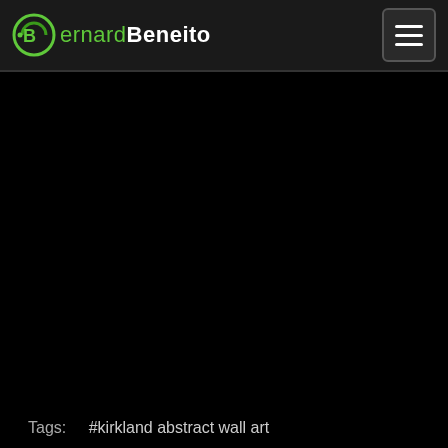BernardBeneito
[Figure (photo): Large dark/black image area showing abstract wall art, nearly entirely black]
Tags:  #kirkland abstract wall art